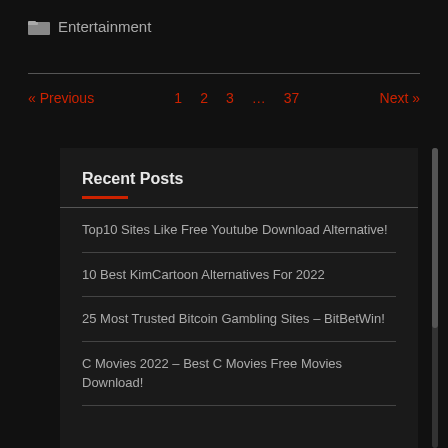Entertainment
« Previous   1   2   3   …   37   Next »
Recent Posts
Top10 Sites Like Free Youtube Download Alternative!
10 Best KimCartoon Alternatives For 2022
25 Most Trusted Bitcoin Gambling Sites – BitBetWin!
C Movies 2022 – Best C Movies Free Movies Download!